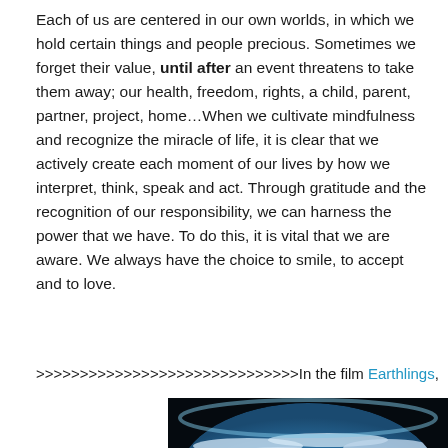Each of us are centered in our own worlds, in which we hold certain things and people precious. Sometimes we forget their value, until after an event threatens to take them away; our health, freedom, rights, a child, parent, partner, project, home…When we cultivate mindfulness and recognize the miracle of life, it is clear that we actively create each moment of our lives by how we interpret, think, speak and act. Through gratitude and the recognition of our responsibility, we can harness the power that we have. To do this, it is vital that we are aware. We always have the choice to smile, to accept and to love.
>>>>>>>>>>>>>>>>>>>>>>>>>>>>In the film Earthlings,
[Figure (photo): Photograph of Earth from space showing the curved horizon with blue ocean and white clouds against a dark background]